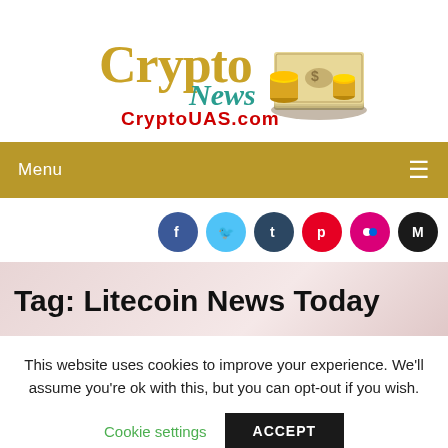[Figure (logo): CryptoNews CryptoUAS.com logo with gold 'Crypto' text, script 'News' text, red 'CryptoUAS.com' text, and coin/money stack illustration]
Menu ≡
[Figure (infographic): Social media icons row: Facebook (blue), Twitter (light blue), Tumblr (dark blue), Pinterest (red), Flickr (pink), Medium (black)]
Tag: Litecoin News Today
This website uses cookies to improve your experience. We'll assume you're ok with this, but you can opt-out if you wish.
Cookie settings   ACCEPT